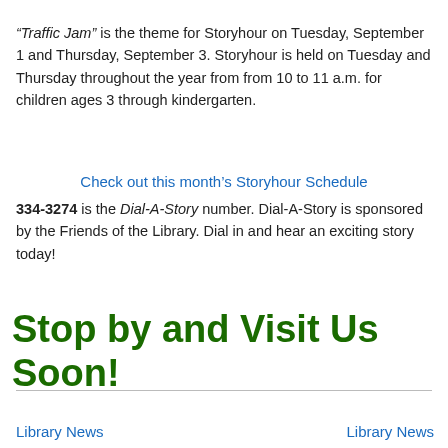“Traffic Jam” is the theme for Storyhour on Tuesday, September 1 and Thursday, September 3. Storyhour is held on Tuesday and Thursday throughout the year from from 10 to 11 a.m. for children ages 3 through kindergarten.
Check out this month’s Storyhour Schedule
334-3274 is the Dial-A-Story number. Dial-A-Story is sponsored by the Friends of the Library. Dial in and hear an exciting story today!
Stop by and Visit Us Soon!
Library News
Library News